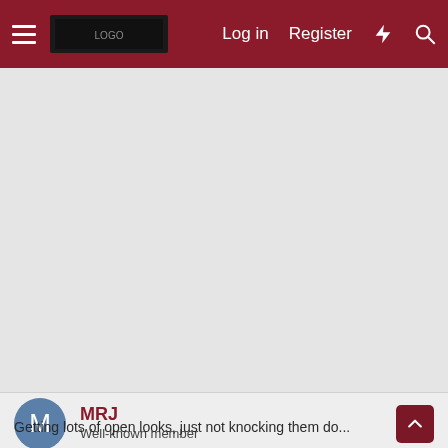Log in  Register
[Figure (other): Large gray advertisement/placeholder area below the navigation header]
MRJ
Well-known member
Nov 13, 2009
Getting lots of open looks, just not knocking them do...